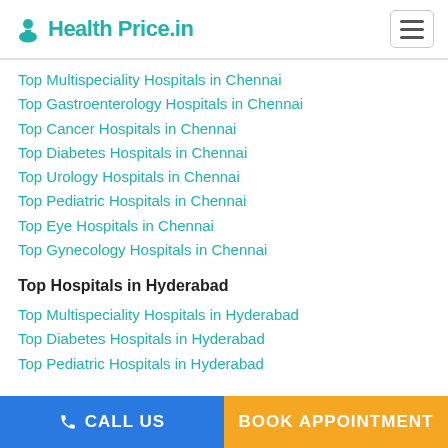Health Price.in
Top Multispeciality Hospitals in Chennai
Top Gastroenterology Hospitals in Chennai
Top Cancer Hospitals in Chennai
Top Diabetes Hospitals in Chennai
Top Urology Hospitals in Chennai
Top Pediatric Hospitals in Chennai
Top Eye Hospitals in Chennai
Top Gynecology Hospitals in Chennai
Top Hospitals in Hyderabad
Top Multispeciality Hospitals in Hyderabad
Top Diabetes Hospitals in Hyderabad
Top Pediatric Hospitals in Hyderabad
CALL US | BOOK APPOINTMENT